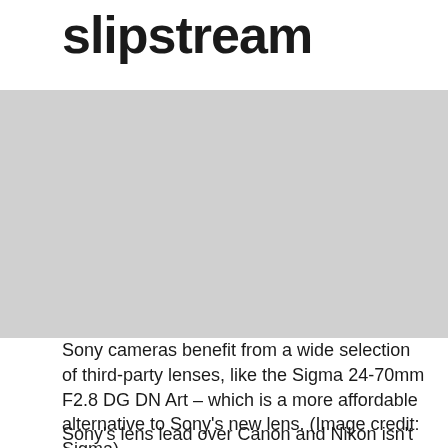slipstream
[Figure (photo): A photograph area showing a camera lens, likely related to the Sigma 24-70mm F2.8 DG DN Art lens mentioned in the caption.]
Sony cameras benefit from a wide selection of third-party lenses, like the Sigma 24-70mm F2.8 DG DN Art – which is a more affordable alternative to Sony's new lens. (Image credit: Sigma)
Sony's lens lead over Canon and Nikon isn't